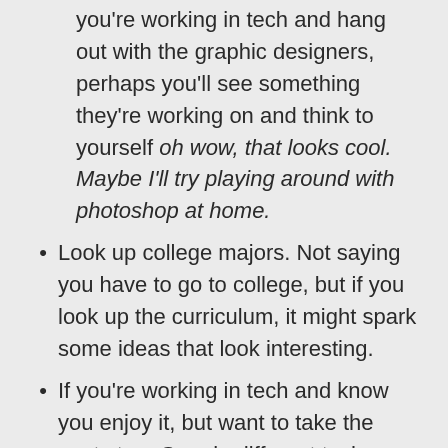you're working in tech and hang out with the graphic designers, perhaps you'll see something they're working on and think to yourself oh wow, that looks cool. Maybe I'll try playing around with photoshop at home.
Look up college majors. Not saying you have to go to college, but if you look up the curriculum, it might spark some ideas that look interesting.
If you're working in tech and know you enjoy it, but want to take the next step, Google different tech specialties that you can lab up at home. Maybe some legal penetration testing or some free